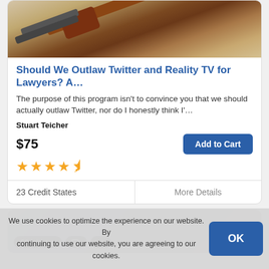[Figure (photo): Photo of a judge's gavel on a wooden surface with books]
Should We Outlaw Twitter and Reality TV for Lawyers? A…
The purpose of this program isn't to convince you that we should actually outlaw Twitter, nor do I honestly think I'…
Stuart Teicher
$75
Add to Cart
★★★★½
23 Credit States
More Details
[Figure (photo): Photo of books and pencils on a wooden surface with badges showing 59 minutes, captions icon, and CC]
59 minutes
CC
We use cookies to optimize the experience on our website. By continuing to use our website, you are agreeing to our cookies.
OK